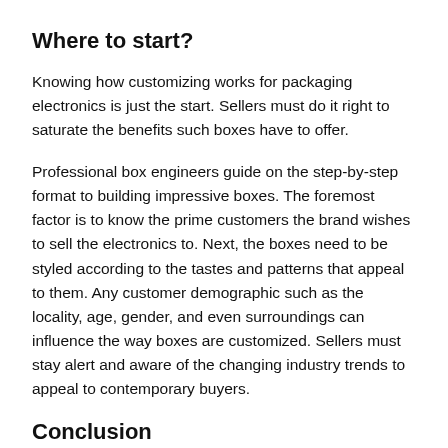Where to start?
Knowing how customizing works for packaging electronics is just the start. Sellers must do it right to saturate the benefits such boxes have to offer.
Professional box engineers guide on the step-by-step format to building impressive boxes. The foremost factor is to know the prime customers the brand wishes to sell the electronics to. Next, the boxes need to be styled according to the tastes and patterns that appeal to them. Any customer demographic such as the locality, age, gender, and even surroundings can influence the way boxes are customized. Sellers must stay alert and aware of the changing industry trends to appeal to contemporary buyers.
Conclusion